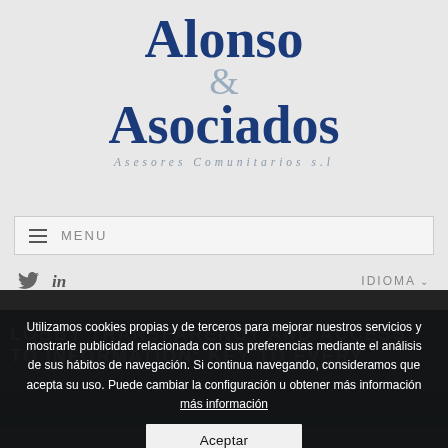[Figure (logo): Alonso & Asociados - Asesores Comunitarios s.l company logo with ampersand symbol]
MENU
IDIOMA
LOBBY TRANSPARENCY AND ACCESS TO INFORMATION: KEY TO EVERY
Utilizamos cookies propias y de terceros para mejorar nuestros servicios y mostrarle publicidad relacionada con sus preferencias mediante el análisis de sus hábitos de navegación. Si continua navegando, consideramos que acepta su uso. Puede cambiar la configuración u obtener más información más información
Aceptar